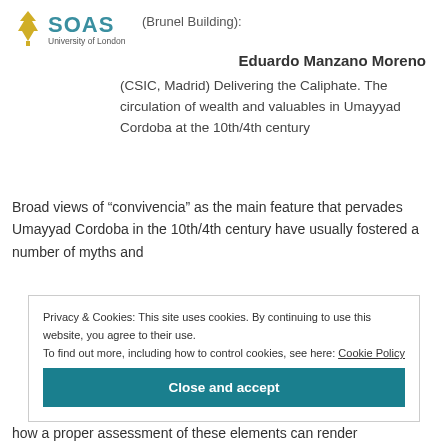[Figure (logo): SOAS University of London logo with golden tree icon]
(Brunel Building):
Eduardo Manzano Moreno
(CSIC, Madrid) Delivering the Caliphate. The circulation of wealth and valuables in Umayyad Cordoba at the 10th/4th century
Broad views of “convivencia” as the main feature that pervades Umayyad Cordoba in the 10th/4th century have usually fostered a number of myths and
Privacy & Cookies: This site uses cookies. By continuing to use this website, you agree to their use.
To find out more, including how to control cookies, see here: Cookie Policy
Close and accept
how a proper assessment of these elements can render